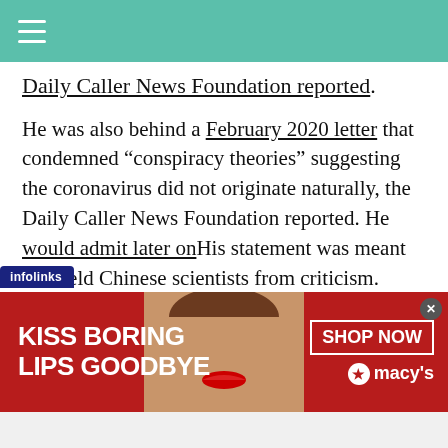[Navigation bar with hamburger menu]
Daily Caller News Foundation reported.
He was also behind a February 2020 letter that condemned “conspiracy theories” suggesting the coronavirus did not originate naturally, the Daily Caller News Foundation reported. He would admit later onHis statement was meant to shield Chinese scientists from criticism.
[Figure (photo): Macy’s lipstick advertisement banner showing a woman with red lips. Text reads: KISS BORING LIPS GOODBYE, SHOP NOW, star macys. Infolinks tab visible.]